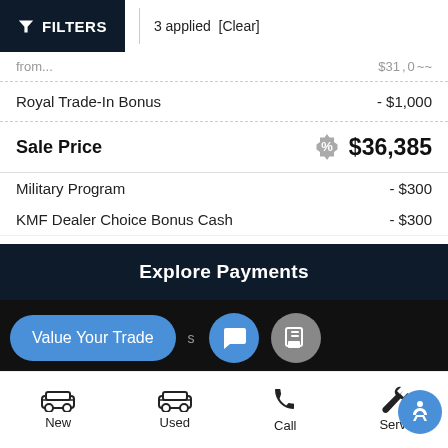FILTERS | 3 applied [Clear]
| Royal Trade-In Bonus | - $1,000 |
| Sale Price | $36,385 |
| Military Program | - $300 |
| KMF Dealer Choice Bonus Cash | - $300 |
Explore Payments
Value Your Trade
[Figure (screenshot): Navigation bar with icons: New (car icon), Used (car icon), Call (phone icon), Service (wrench icon), and accessibility button]